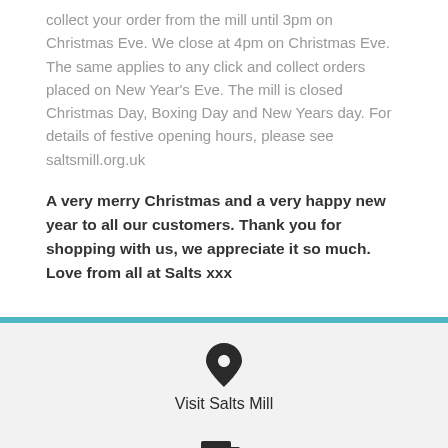collect your order from the mill until 3pm on Christmas Eve. We close at 4pm on Christmas Eve. The same applies to any click and collect orders placed on New Year's Eve. The mill is closed Christmas Day, Boxing Day and New Years day. For details of festive opening hours, please see saltsmill.org.uk
A very merry Christmas and a very happy new year to all our customers. Thank you for shopping with us, we appreciate it so much. Love from all at Salts xxx
[Figure (infographic): Location pin icon above 'Visit Salts Mill' text link]
[Figure (infographic): Delivery truck icon above 'Delivery Information' text link]